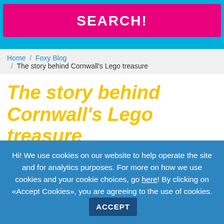[Figure (screenshot): Pink search button with white text 'SEARCH!' on a cyan/blue background]
Home / Foxy Blog / The story behind Cornwall's Lego treasure
The story behind Cornwall's Lego treasure
Hi! We use cookies on our website to help operate the site and for analytics purposes. For more on how we use cookies and your cookie choices, go here! By clicking on «Accept Cookies», you are agreeing to the use of cookies. ACCEPT